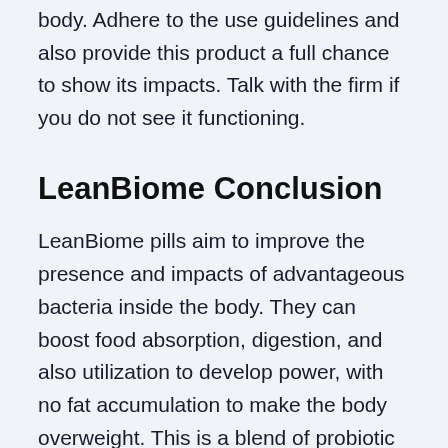weight loss as well as metabolic changes in the body. Adhere to the use guidelines and also provide this product a full chance to show its impacts. Talk with the firm if you do not see it functioning.
LeanBiome Conclusion
LeanBiome pills aim to improve the presence and impacts of advantageous bacteria inside the body. They can boost food absorption, digestion, and also utilization to develop power, with no fat accumulation to make the body overweight. This is a blend of probiotic as well as prebiotic stress, as well as each and every single one of them has clinical evidence of its efficacy.